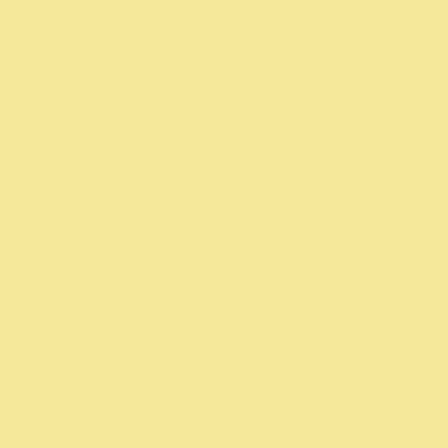toast. Furthermore, the accessory EV... These are two extremely practical be... NEX-6, yet the former camera is som... professional. By the way, the accesse... sale for $218.49 until the end of the...
Ken Ford: "I'm going to live vicario... I've come very close to buying a Zei... several times, but I keep chickening ... Minidisc on the whole NEX mount a... $1,000 paperweight. I'll keep soldier... few OM and Nikkor manual focus le... and 50mm f/1.8 MIJ are particularly... lying if I said that I didn't want the Z..."
Adam Maas: "For those complainin... be aware that the only two large prim... and the 50mm f/1.8 OSS. The 35mm... about exactly the same size as the Pa... f/1.4 for Micro 4/3rds, the 30mm f/..."